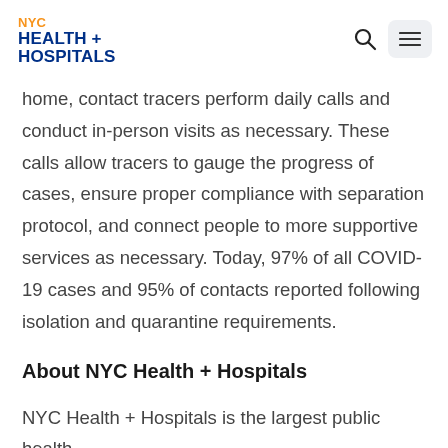NYC HEALTH + HOSPITALS
home, contact tracers perform daily calls and conduct in-person visits as necessary. These calls allow tracers to gauge the progress of cases, ensure proper compliance with separation protocol, and connect people to more supportive services as necessary. Today, 97% of all COVID-19 cases and 95% of contacts reported following isolation and quarantine requirements.
About NYC Health + Hospitals
NYC Health + Hospitals is the largest public health